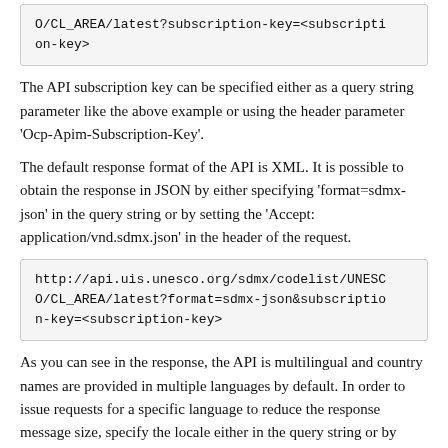O/CL_AREA/latest?subscription-key=<subscription-key>
The API subscription key can be specified either as a query string parameter like the above example or using the header parameter 'Ocp-Apim-Subscription-Key'.
The default response format of the API is XML. It is possible to obtain the response in JSON by either specifying 'format=sdmx-json' in the query string or by setting the 'Accept: application/vnd.sdmx.json' in the header of the request.
http://api.uis.unesco.org/sdmx/codelist/UNESCO/CL_AREA/latest?format=sdmx-json&subscription-key=<subscription-key>
As you can see in the response, the API is multilingual and country names are provided in multiple languages by default. In order to issue requests for a specific language to reduce the response message size, specify the locale either in the query string or by using the Accept-Language header. For example, to retrieve the country list in English, use: